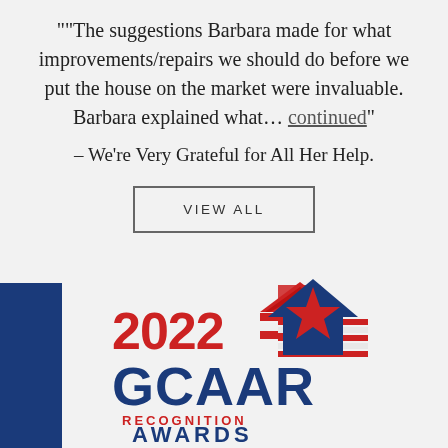"The suggestions Barbara made for what improvements/repairs we should do before we put the house on the market were invaluable. Barbara explained what… continued" – We're Very Grateful for All Her Help.
VIEW ALL
[Figure (logo): 2022 GCAAR Recognition Awards logo with blue bar on left, red and blue star/house emblem, text '2022 GCAAR RECOGNITION AWARDS']